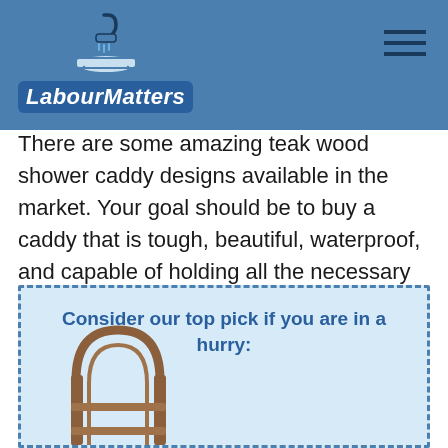LabourMatters
There are some amazing teak wood shower caddy designs available in the market. Your goal should be to buy a caddy that is tough, beautiful, waterproof, and capable of holding all the necessary products at once.
Consider our top pick if you are in a hurry:
[Figure (photo): A teak wood shower caddy with an arch frame and shelves]